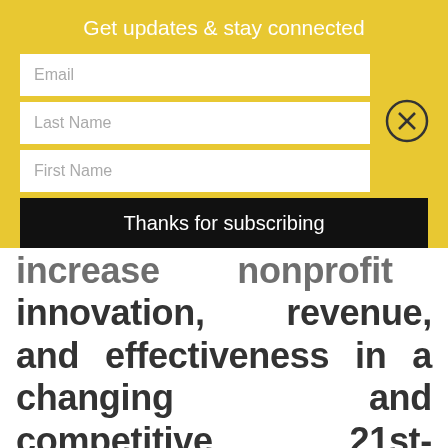Get updates & stay connected
Email
Last Name
First Name
Thanks for subscribing
increase nonprofit innovation, revenue, and effectiveness in a changing and competitive 21st-century philanthropy and fundraising environment. Synergies specializes in major gifts | fundraising